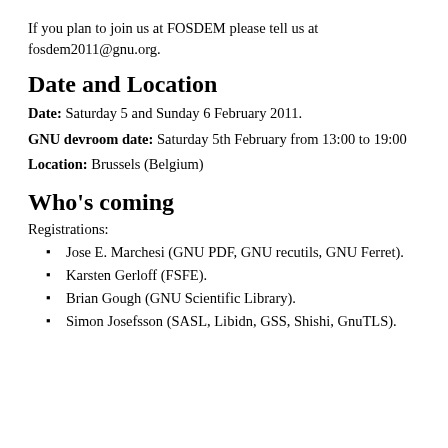If you plan to join us at FOSDEM please tell us at fosdem2011@gnu.org.
Date and Location
Date: Saturday 5 and Sunday 6 February 2011.
GNU devroom date: Saturday 5th February from 13:00 to 19:00
Location: Brussels (Belgium)
Who's coming
Registrations:
Jose E. Marchesi (GNU PDF, GNU recutils, GNU Ferret).
Karsten Gerloff (FSFE).
Brian Gough (GNU Scientific Library).
Simon Josefsson (SASL, Libidn, GSS, Shishi, GnuTLS).